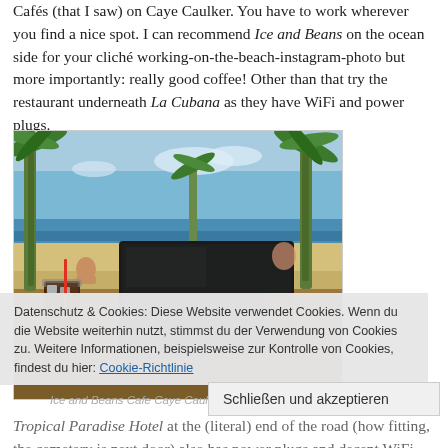Cafés (that I saw) on Caye Caulker. You have to work wherever you find a nice spot. I can recommend Ice and Beans on the ocean side for your cliché working-on-the-beach-instagram-photo but more importantly: really good coffee! Other than that try the restaurant underneath La Cubana as they have WiFi and power plugs.
[Figure (photo): A laptop computer on a table at a beachside cafe. An iced coffee drink with a red straw sits to the left. Palm trees and the ocean are visible in the background. A person sits on the beach in the distance.]
Ice and Beans Cafe Caye Caulker
Datenschutz & Cookies: Diese Website verwendet Cookies. Wenn du die Website weiterhin nutzt, stimmst du der Verwendung von Cookies zu. Weitere Informationen, beispielsweise zur Kontrolle von Cookies, findest du hier: Cookie-Richtlinie
Schließen und akzeptieren
Tropical Paradise Hotel at the (literal) end of the road (how fitting, the cemetery is next door) also has power plugs and decent WiFi,